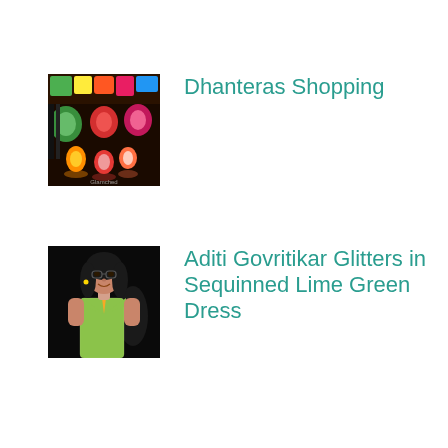[Figure (photo): A decorative indoor scene with colorful lanterns and festive lighting — related to Dhanteras shopping.]
Dhanteras Shopping
[Figure (photo): A woman wearing a lime green sequinned dress, Aditi Govritikar, photographed at an event.]
Aditi Govritikar Glitters in Sequinned Lime Green Dress